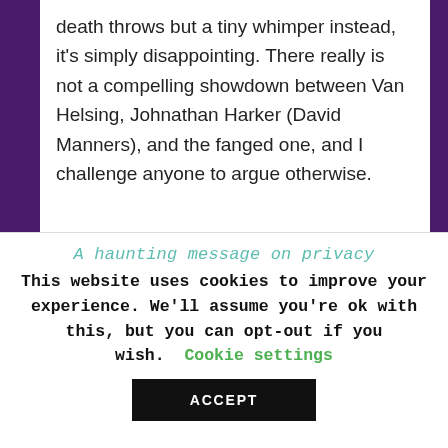death throws but a tiny whimper instead, it's simply disappointing. There really is not a compelling showdown between Van Helsing, Johnathan Harker (David Manners), and the fanged one, and I challenge anyone to argue otherwise.
The other big, obvious flaw is the run time. This is one movie that should have simply been longer, had more stuff [thr]own into it, and maybe some more character development. Browning's version does not have as much
A haunting message on privacy
This website uses cookies to improve your experience. We'll assume you're ok with this, but you can opt-out if you wish. Cookie settings
ACCEPT